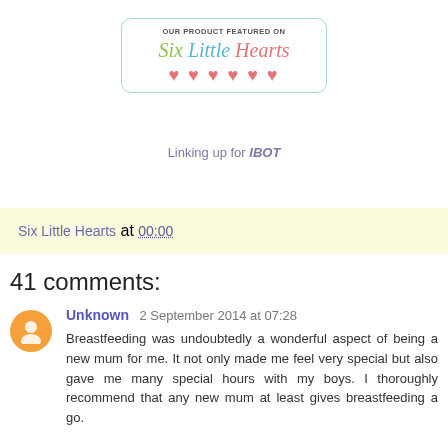[Figure (logo): Six Little Hearts blog badge - teal bordered box with text 'OUR PRODUCT FEATURED ON Six Little Hearts' and six pink hearts]
Linking up for IBOT
Six Little Hearts at 00:00
41 comments:
Unknown  2 September 2014 at 07:28
Breastfeeding was undoubtedly a wonderful aspect of being a new mum for me. It not only made me feel very special but also gave me many special hours with my boys. I thoroughly recommend that any new mum at least gives breastfeeding a go.